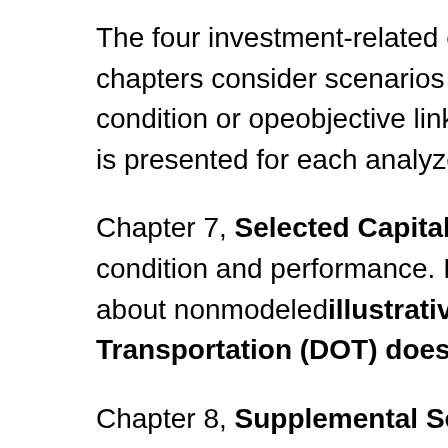The four investment-related chapters in Part II measur... noted otherwise. The chapters consider scenarios for i... maintaining some indicator of physical condition or ope... objective linked to benefits versus costs. The average... 2034 is presented for each analyzed scenario.
Chapter 7, Selected Capital Investment Scenarios, c... projections for condition and performance. It also expla... modeling results with assumptions about nonmodeled... illustrative and do not represent comprehensive ab... Transportation (DOT) does not endorse any scena...
Chapter 8, Supplemental Scenario Analysis, explore... and contains some additional policy-oriented analyses... editions of the C&P Report are compared with actual o... projections presented in this edition. Chapter 9, Sensit... of changes to several key assumptions, such as the di...